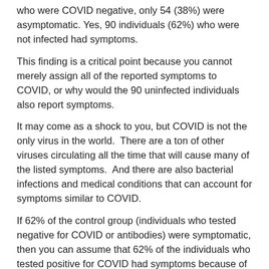who were COVID negative, only 54 (38%) were asymptomatic. Yes, 90 individuals (62%) who were not infected had symptoms.
This finding is a critical point because you cannot merely assign all of the reported symptoms to COVID, or why would the 90 uninfected individuals also report symptoms.
It may come as a shock to you, but COVID is not the only virus in the world.  There are a ton of other viruses circulating all the time that will cause many of the listed symptoms.  And there are also bacterial infections and medical conditions that can account for symptoms similar to COVID.
If 62% of the control group (individuals who tested negative for COVID or antibodies) were symptomatic, then you can assume that 62% of the individuals who tested positive for COVID had symptoms because of other reasons as well.  This detail is why you use control groups in studies, to help determine which symptoms and what percentage of those symptoms are caused by something, in this case, COVID.
Let’s look at the results from the survey of reported symptoms.